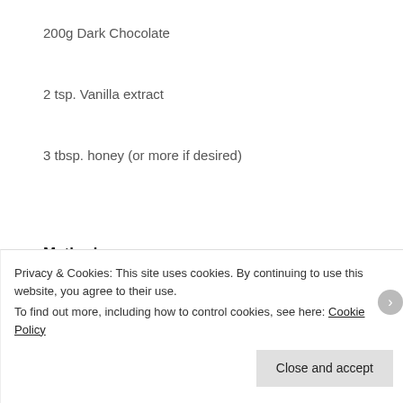200g Dark Chocolate
2 tsp. Vanilla extract
3 tbsp. honey (or more if desired)
Method:
Privacy & Cookies: This site uses cookies. By continuing to use this website, you agree to their use.
To find out more, including how to control cookies, see here: Cookie Policy
Close and accept